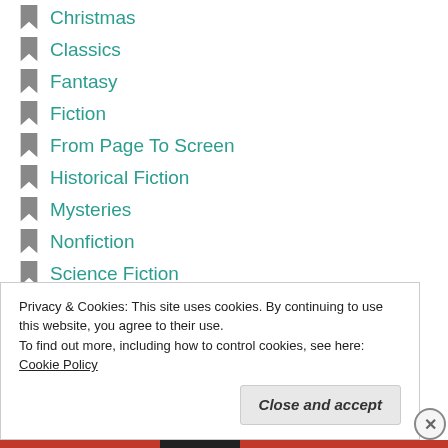Christmas
Classics
Fantasy
Fiction
From Page To Screen
Historical Fiction
Mysteries
Nonfiction
Science Fiction
Top Ten | Tags | Discussion
Uncategorized
Young Adult
Privacy & Cookies: This site uses cookies. By continuing to use this website, you agree to their use.
To find out more, including how to control cookies, see here: Cookie Policy
Close and accept